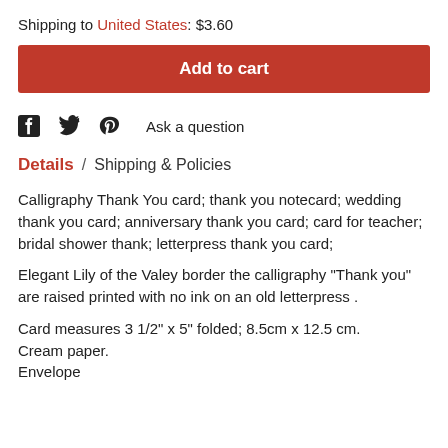Shipping to United States: $3.60
Add to cart
Ask a question
Details  /  Shipping & Policies
Calligraphy Thank You card; thank you notecard; wedding thank you card; anniversary thank you card; card for teacher; bridal shower thank; letterpress thank you card;
Elegant Lily of the Valey border the calligraphy "Thank you" are raised printed with no ink on an old letterpress .
Card measures 3 1/2" x 5" folded; 8.5cm x 12.5 cm.
Cream paper.
Envelope